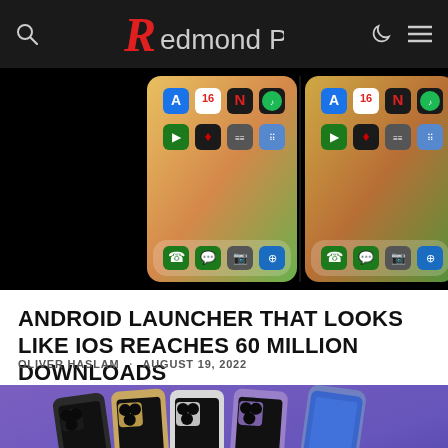Redmond Pie
[Figure (screenshot): Two side-by-side iPhone screenshots showing an Android launcher that mimics iOS interface, with app icons including App Store, Netflix, Spotify, FaceTime, Voice Recorder, Calculator, Files, Phone, Messages, Camera, Safari. Black background on either side.]
ANDROID LAUNCHER THAT LOOKS LIKE IOS REACHES 60 MILLION DOWNLOADS
OLIVER HASLAM · AUGUST 19, 2022
[Figure (photo): Row of iPhones in various colors (space gray, gold, silver, purple) showing the rear triple-camera system, displayed against a purple gradient background. A dark circle scroll-to-top button appears in the bottom right.]